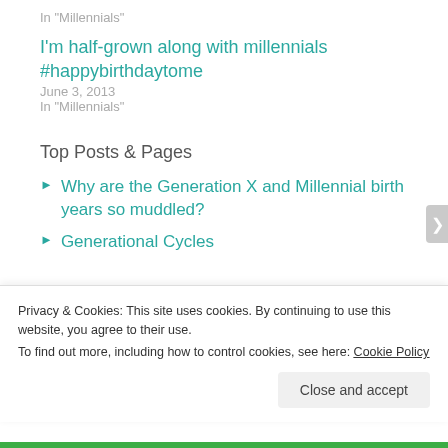In "Millennials"
I'm half-grown along with millennials #happybirthdaytome
June 3, 2013
In "Millennials"
Top Posts & Pages
Why are the Generation X and Millennial birth years so muddled?
Generational Cycles
Privacy & Cookies: This site uses cookies. By continuing to use this website, you agree to their use.
To find out more, including how to control cookies, see here: Cookie Policy
Close and accept